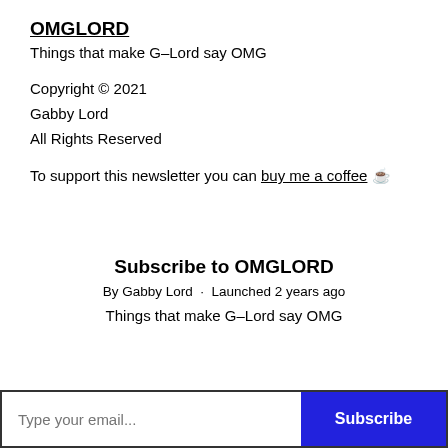OMGLORD
Things that make G–Lord say OMG
Copyright © 2021
Gabby Lord
All Rights Reserved
To support this newsletter you can buy me a coffee ☕
Subscribe to OMGLORD
By Gabby Lord · Launched 2 years ago
Things that make G–Lord say OMG
Type your email...  Subscribe